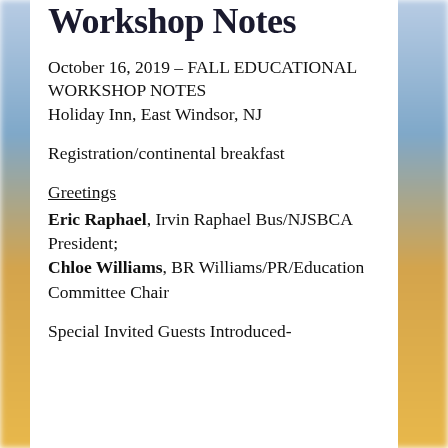Workshop Notes
October 16, 2019 – FALL EDUCATIONAL WORKSHOP NOTES
Holiday Inn, East Windsor, NJ
Registration/continental breakfast
Greetings
Eric Raphael, Irvin Raphael Bus/NJSBCA President; Chloe Williams, BR Williams/PR/Education Committee Chair
Special Invited Guests Introduced-